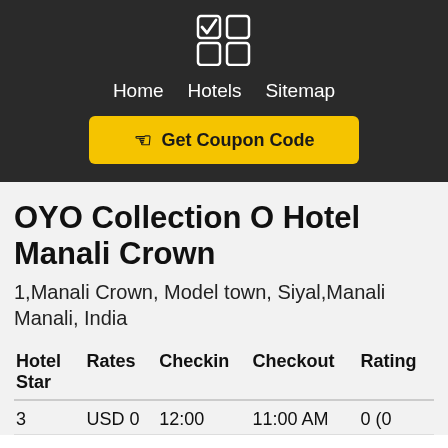Home  Hotels  Sitemap
[Figure (logo): OYO-style app icon with checked and unchecked squares in a 2x2 grid]
Get Coupon Code
OYO Collection O Hotel Manali Crown
1,Manali Crown, Model town, Siyal,Manali Manali, India
| Hotel Star | Rates | Checkin | Checkout | Rating |
| --- | --- | --- | --- | --- |
| 3 | USD 0 | 12:00 | 11:00 AM | 0 (0 |